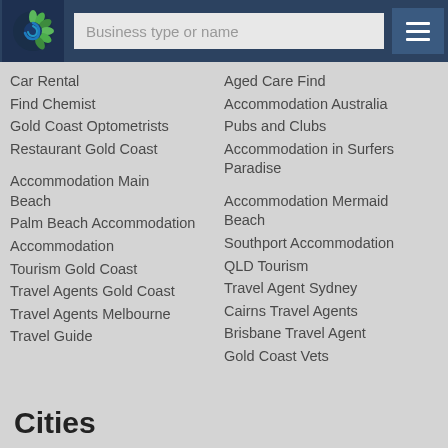Business type or name
Car Rental
Aged Care Find
Find Chemist
Accommodation Australia
Gold Coast Optometrists
Pubs and Clubs
Restaurant Gold Coast
Accommodation in Surfers Paradise
Accommodation Main Beach
Accommodation Mermaid Beach
Palm Beach Accommodation
Southport Accommodation
Accommodation
QLD Tourism
Tourism Gold Coast
Travel Agent Sydney
Travel Agents Gold Coast
Cairns Travel Agents
Travel Agents Melbourne
Brisbane Travel Agent
Travel Guide
Gold Coast Vets
Cities